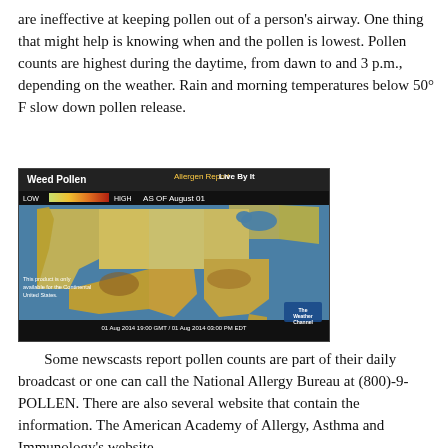are ineffective at keeping pollen out of a person's airway.  One thing that might help is knowing when and the pollen is lowest.  Pollen counts are highest during the daytime, from dawn to and 3 p.m., depending on the weather.  Rain and morning temperatures below 50° F slow down pollen release.
[Figure (map): Weed Pollen Allergen Report Live By It map showing pollen levels across the continental United States, AS OF August 01. A color scale from LOW to HIGH is shown. The Weather Channel logo and weather.com branding visible. Timestamp: 01 Aug 2014 19:00 GMT / 01 Aug 2014 03:00 PM EDT.]
Some newscasts report pollen counts are part of their daily broadcast or one can call the National Allergy Bureau at (800)-9-POLLEN.  There are also several website that contain the information.  The American Academy of Allergy, Asthma and Immunology's website